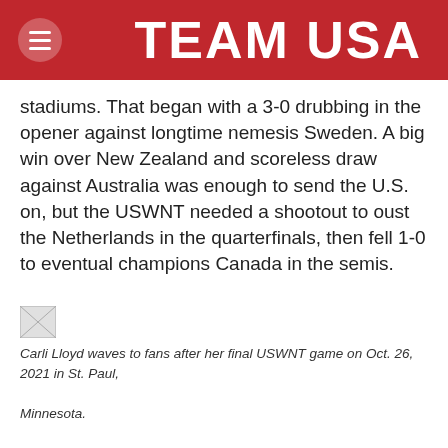TEAM USA
stadiums. That began with a 3-0 drubbing in the opener against longtime nemesis Sweden. A big win over New Zealand and scoreless draw against Australia was enough to send the U.S. on, but the USWNT needed a shootout to oust the Netherlands in the quarterfinals, then fell 1-0 to eventual champions Canada in the semis.
[Figure (photo): Broken/missing image placeholder]
Carli Lloyd waves to fans after her final USWNT game on Oct. 26, 2021 in St. Paul, Minnesota.